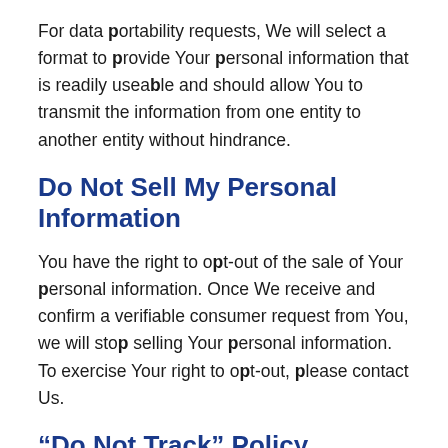For data portability requests, We will select a format to provide Your personal information that is readily useable and should allow You to transmit the information from one entity to another entity without hindrance.
Do Not Sell My Personal Information
You have the right to opt-out of the sale of Your personal information. Once We receive and confirm a verifiable consumer request from You, we will stop selling Your personal information. To exercise Your right to opt-out, please contact Us.
“Do Not Track” Policy